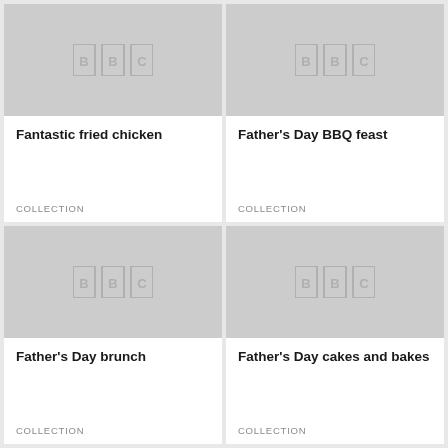[Figure (other): BBC logo placeholder image, light grey background]
Fantastic fried chicken
COLLECTION
[Figure (other): BBC logo placeholder image, light grey background]
Father's Day BBQ feast
COLLECTION
[Figure (other): BBC logo placeholder image, light grey background]
Father's Day brunch
COLLECTION
[Figure (other): BBC logo placeholder image, light grey background]
Father's Day cakes and bakes
COLLECTION